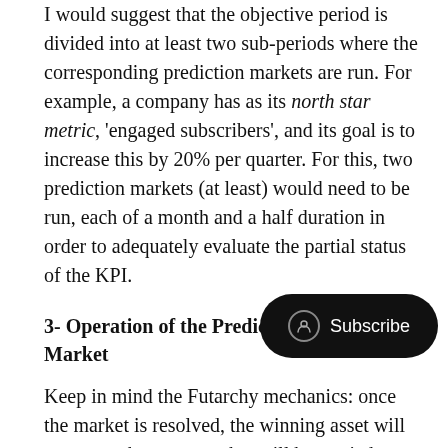I would suggest that the objective period is divided into at least two sub-periods where the corresponding prediction markets are run. For example, a company has as its north star metric, 'engaged subscribers', and its goal is to increase this by 20% per quarter. For this, two prediction markets (at least) would need to be run, each of a month and a half duration in order to adequately evaluate the partial status of the KPI.
3- Operation of the Prediction and Audit Market
Keep in mind the Futarchy mechanics: once the market is resolved, the winning asset will represent the measure that will be carried out during the stipulated period. Once that date in question has arrived, the welfare metric will be audited and, based on the result it reflects, those who predicted correctly will be compensated. Here, we have to consider several important deadlines: